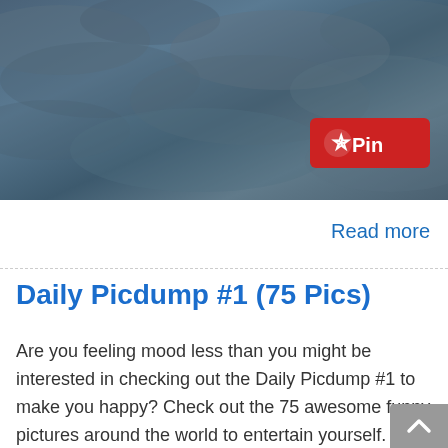[Figure (photo): Dark stormy blue-gray cloudy sky photograph with a red Pinterest Pin button overlay in the lower right area of the image]
Read more
Daily Picdump #1 (75 Pics)
Are you feeling mood less than you might be interested in checking out the Daily Picdump #1 to make you happy? Check out the 75 awesome funny pictures around the world to entertain yourself.